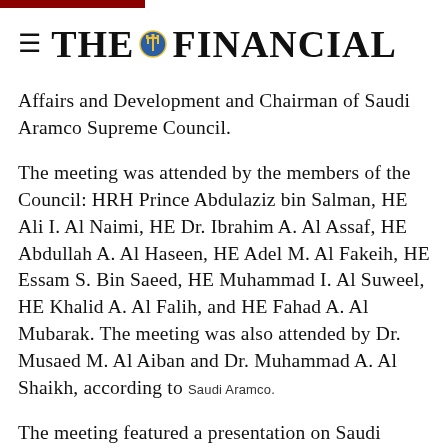THE FINANCIAL
Affairs and Development and Chairman of Saudi Aramco Supreme Council.
The meeting was attended by the members of the Council: HRH Prince Abdulaziz bin Salman, HE Ali I. Al Naimi, HE Dr. Ibrahim A. Al Assaf, HE Abdullah A. Al Haseen, HE Adel M. Al Fakeih, HE Essam S. Bin Saeed, HE Muhammad I. Al Suweel, HE Khalid A. Al Falih, and HE Fahad A. Al Mubarak. The meeting was also attended by Dr. Musaed M. Al Aiban and Dr. Muhammad A. Al Shaikh, according to Saudi Aramco.
The meeting featured a presentation on Saudi Aramco and its role in supporting the Kingdom sustainable development. It also included an expose